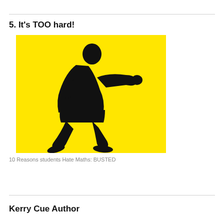5. It's TOO hard!
[Figure (illustration): Black silhouette of a martial artist in a punching/fighting stance on a bright yellow background.]
10 Reasons students Hate Maths: BUSTED
Kerry Cue Author